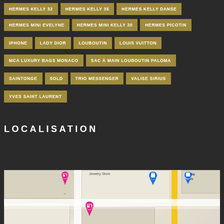HERMES KELLY 32
HERMES KELLY 35
HERMES KELLY DANSE
HERMES MINI EVELYNE
HERMES MINI KELLY 20
HERMES PICOTIN
IPHONE
LADY DIOR
LOUBOUTIN
LOUIS VUITTON
MCA LUXURY BAGS MONACO
SAC À MAIN LOUBOUTIN PALOMA
SAINTONGE
SOLD
TRIO MESSENGER
VALISE SIRIUS
YVES SAINT LAURENT
LOCALISATION
[Figure (map): Street map showing location with pink hotel/location pins and blue shopping bag icons, with a yellow road running vertically]